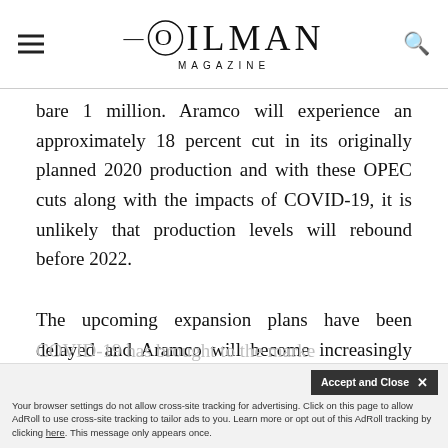OILMAN MAGAZINE
bare 1 million. Aramco will experience an approximately 18 percent cut in its originally planned 2020 production and with these OPEC cuts along with the impacts of COVID-19, it is unlikely that production levels will rebound before 2022.
The upcoming expansion plans have been delayed and Aramco will become increasingly more strict with its capital spending due to the uncertainty which COVID-19 has brought to the market
Your browser settings do not allow cross-site tracking for advertising. Click on this page to allow AdRoll to use cross-site tracking to tailor ads to you. Learn more or opt out of this AdRoll tracking by clicking here. This message only appears once.